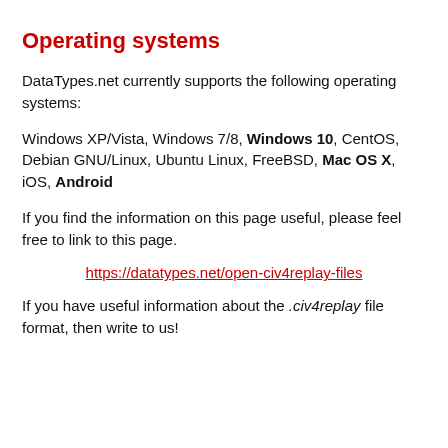Operating systems
DataTypes.net currently supports the following operating systems:
Windows XP/Vista, Windows 7/8, Windows 10, CentOS, Debian GNU/Linux, Ubuntu Linux, FreeBSD, Mac OS X, iOS, Android
If you find the information on this page useful, please feel free to link to this page.
https://datatypes.net/open-civ4replay-files
If you have useful information about the .civ4replay file format, then write to us!